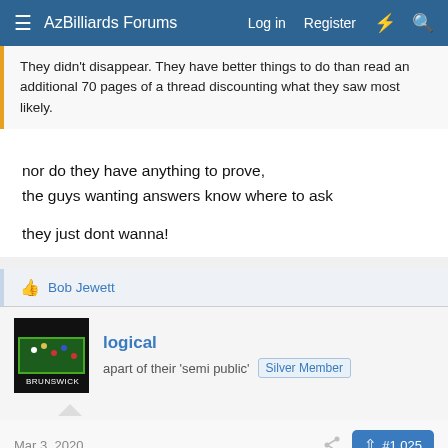AzBilliards Forums   Log in   Register
They didn't disappear. They have better things to do than read an additional 70 pages of a thread discounting what they saw most likely.
nor do they have anything to prove,
the guys wanting answers know where to ask

they just dont wanna!
Bob Jewett
logical
apart of their 'semi public'  Silver Member
Mar 3, 2020   #1,025
nine_ball6970 said: